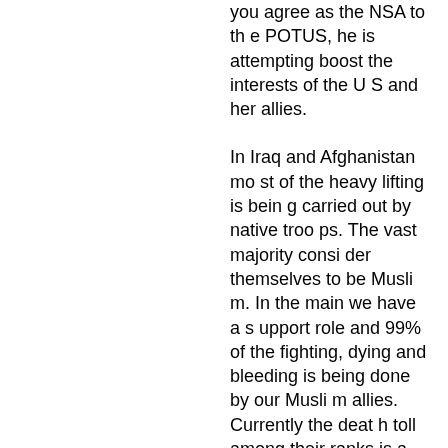you agree as the NSA to the POTUS, he is attempting boost the interests of the US and her allies.
In Iraq and Afghanistan most of the heavy lifting is being carried out by native troops. The vast majority consider themselves to be Muslim. In the main we have a support role and 99% of the fighting, dying and bleeding is being done by our Muslim allies. Currently the death toll among their ranks is approx. 5000 KIA a year in both Iraq and AF and times two WIA.
I assume you agree we are